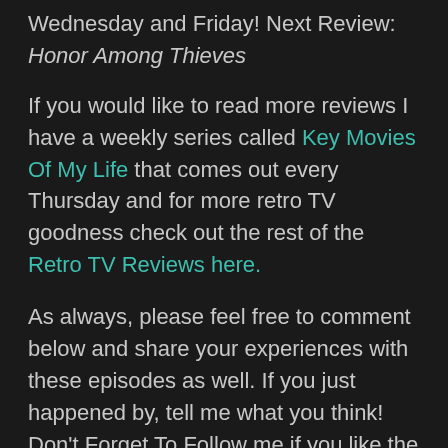Wednesday and Friday! Next Review: Honor Among Thieves
If you would like to read more reviews I have a weekly series called Key Movies Of My Life that comes out every Thursday and for more retro TV goodness check out the rest of the Retro TV Reviews here.
As always, please feel free to comment below and share your experiences with these episodes as well. If you just happened by, tell me what you think! Don't Forget To Follow me if you like the